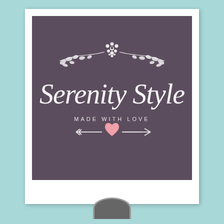[Figure (logo): Serenity Style logo on a dark purple/mauve chalkboard-style background. Features decorative white vine and flower garland at top, large script text 'Serenity Style' in white, subtitle 'MADE WITH LOVE' in small spaced caps, and a decorative arrow with a pink heart in the center. The logo is displayed in a polaroid-style white frame against a teal/mint background.]